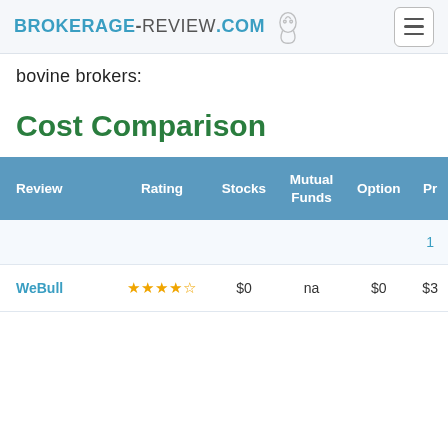BROKERAGE-REVIEW.COM
bovine brokers:
Cost Comparison
| Review | Rating | Stocks | Mutual Funds | Option | Pr |
| --- | --- | --- | --- | --- | --- |
|  |  |  |  |  | 1 |
| WeBull | ★★★★½ | $0 | na | $0 | $3 |